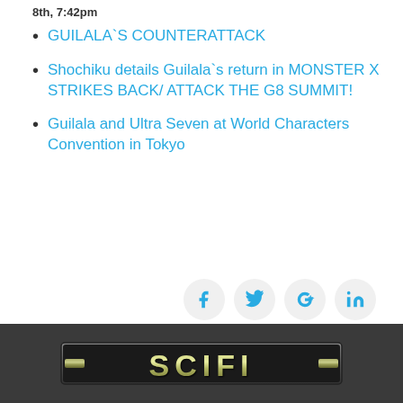8th, 7:42pm
GUILALA`S COUNTERATTACK
Shochiku details Guilala`s return in MONSTER X STRIKES BACK/ ATTACK THE G8 SUMMIT!
Guilala and Ultra Seven at World Characters Convention in Tokyo
[Figure (infographic): Social sharing icons: Facebook (f), Twitter (bird), Google+ (G+), LinkedIn (in) — four circular light-grey buttons]
[Figure (logo): SCIFI logo in metallic 3D lettering on dark grey footer bar]